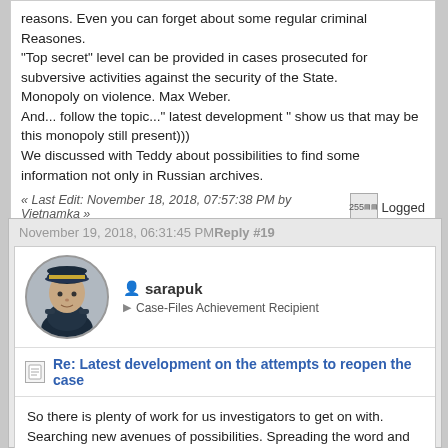reasons. Even you can forget about some regular criminal Reasones. "Top secret" level can be provided in cases prosecuted for subversive activities against the security of the State. Monopoly on violence. Max Weber. And... follow the topic..." latest development " show us that may be this monopoly still present))) We discussed with Teddy about possibilities to find some information not only in Russian archives.
« Last Edit: November 18, 2018, 07:57:38 PM by Vietnamka » Logged
November 19, 2018, 06:31:45 PMReply #19
sarapuk
Case-Files Achievement Recipient
Re: Latest development on the attempts to reopen the case
So there is plenty of work for us investigators to get on with. Searching new avenues of possibilities. Spreading the word and keeping this subject alive. And I suppose Russia is still capable of yielding some secrets.